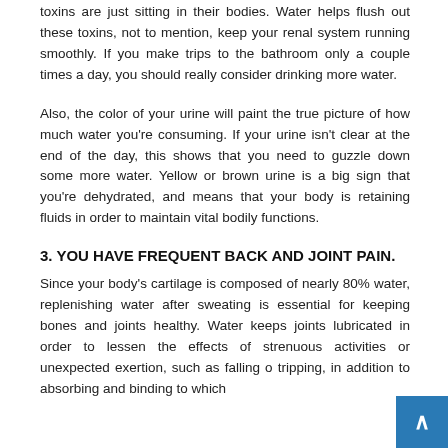toxins are just sitting in their bodies. Water helps flush out these toxins, not to mention, keep your renal system running smoothly. If you make trips to the bathroom only a couple times a day, you should really consider drinking more water.
Also, the color of your urine will paint the true picture of how much water you're consuming. If your urine isn't clear at the end of the day, this shows that you need to guzzle down some more water. Yellow or brown urine is a big sign that you're dehydrated, and means that your body is retaining fluids in order to maintain vital bodily functions.
3. YOU HAVE FREQUENT BACK AND JOINT PAIN.
Since your body's cartilage is composed of nearly 80% water, replenishing water after sweating is essential for keeping bones and joints healthy. Water keeps joints lubricated in order to lessen the effects of strenuous activities or unexpected exertion, such as falling o tripping, in addition to absorbing and binding to which